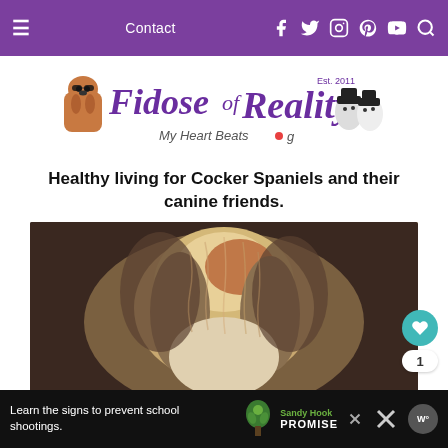≡  Contact  🌐 𝕏 📷 𝗽 ▶ 🔍
[Figure (logo): Fidose of Reality logo — 'Fidose of Reality' in purple cursive script with dog illustration, tagline 'My Heart Beats Dog', Est 2011]
Healthy living for Cocker Spaniels and their canine friends.
[Figure (photo): Close-up photo of a fluffy Cocker Spaniel dog with wavy brown and white fur]
Learn the signs to prevent school shootings.